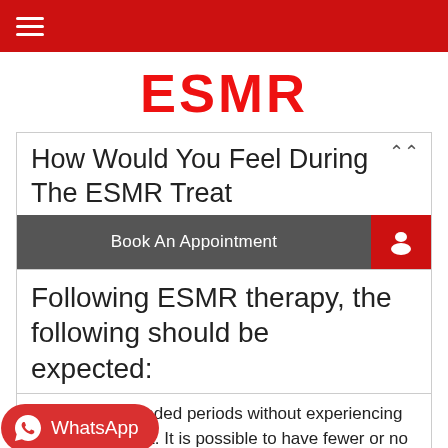≡ (navigation menu icon)
ESMR
How Would You Feel During The ESMR Treat
[Figure (screenshot): Book An Appointment button bar with dark grey background and red icon area]
Following ESMR therapy, the following should be expected:
[Figure (other): WhatsApp button overlay in red with WhatsApp logo icon]
k for more extended periods without experiencing chest discomfort. It is possible to have fewer or no angina attacks. Angina is less painful. There will be less demand for anti-angina medicines. Can